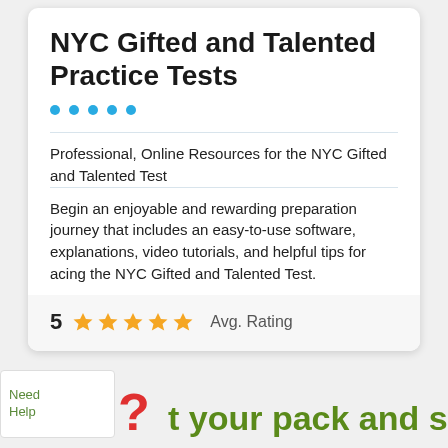NYC Gifted and Talented Practice Tests
Professional, Online Resources for the NYC Gifted and Talented Test
Begin an enjoyable and rewarding preparation journey that includes an easy-to-use software, explanations, video tutorials, and helpful tips for acing the NYC Gifted and Talented Test.
5 ★★★★★ Avg. Rating
Need Help ? t your pack and start